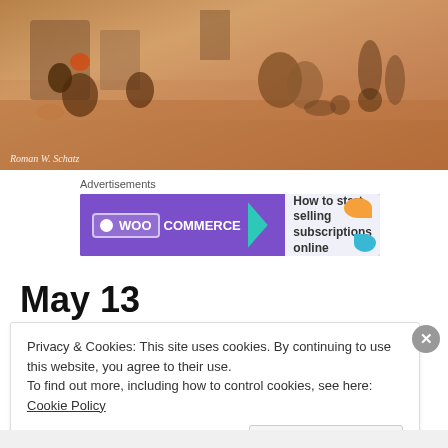[Figure (photo): Sepia-toned photo of people in an outdoor scene, with a watermark credit 'Roman W. Schatz' at the bottom left]
Roman W. Schatz
Advertisements
[Figure (other): WooCommerce advertisement banner: purple background with WooCommerce logo on left, teal arrow pointing right, white background on right with text 'How to start selling subscriptions online' and orange/teal decorative shapes]
May 13
Privacy & Cookies: This site uses cookies. By continuing to use this website, you agree to their use.
To find out more, including how to control cookies, see here: Cookie Policy
Close and accept